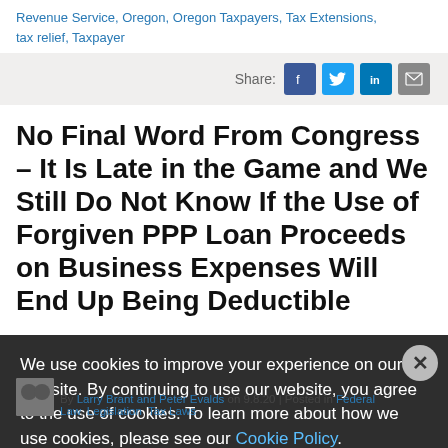Revenue Service, Oregon, Oregon Taxpayers, Tax Extensions, tax relief, Taxpayer
Share:
No Final Word From Congress – It Is Late in the Game and We Still Do Not Know If the Use of Forgiven PPP Loan Proceeds on Business Expenses Will End Up Being Deductible
By Larry Brant and Peter Evalds on 9.8.20 | Posted in Federal Law, Legislation, Tax Laws
We use cookies to improve your experience on our website. By continuing to use our website, you agree to the use of cookies. To learn more about how we use cookies, please see our Cookie Policy.